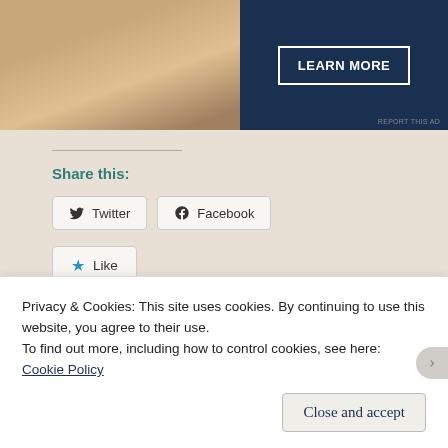[Figure (photo): Advertisement banner: photo of hands working at a table on the left, dark navy blue panel with 'LEARN MORE' button on the right]
Share this:
Twitter  Facebook
Like
Be the first to like this.
Related
Privacy & Cookies: This site uses cookies. By continuing to use this website, you agree to their use.
To find out more, including how to control cookies, see here:
Cookie Policy
Close and accept